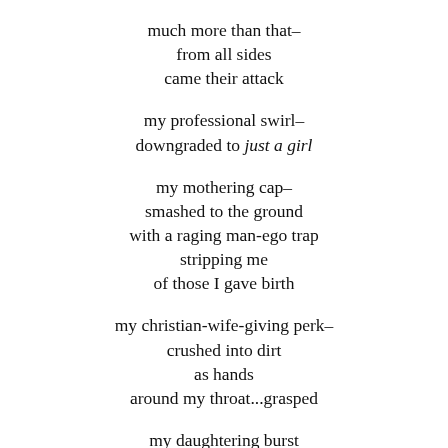much more than that–
from all sides
came their attack
my professional swirl–
downgraded to just a girl
my mothering cap–
smashed to the ground
with a raging man-ego trap
stripping me
of those I gave birth
my christian-wife-giving perk–
crushed into dirt
as hands
around my throat...grasped
my daughtering burst
my sistering worth–
taken, stripped, clasped